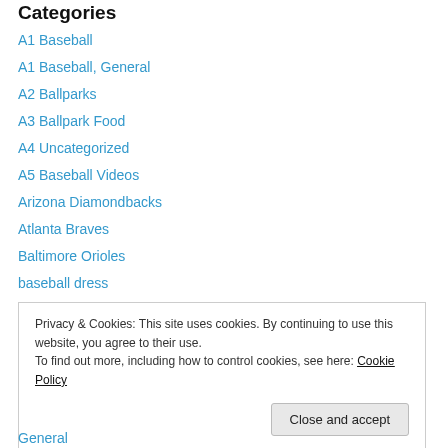Categories
A1 Baseball
A1 Baseball, General
A2 Ballparks
A3 Ballpark Food
A4 Uncategorized
A5 Baseball Videos
Arizona Diamondbacks
Atlanta Braves
Baltimore Orioles
baseball dress
Boston Red Sox
Chicago Cubs
Privacy & Cookies: This site uses cookies. By continuing to use this website, you agree to their use. To find out more, including how to control cookies, see here: Cookie Policy
General